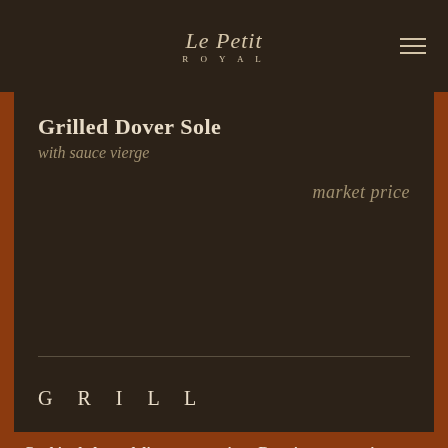Le Petit Royal
Grilled Dover Sole
with sauce vierge
market price
GRILL
Cookies help us deliver our services. By using our services, you agree to our use of cookies.
Learn more
OK